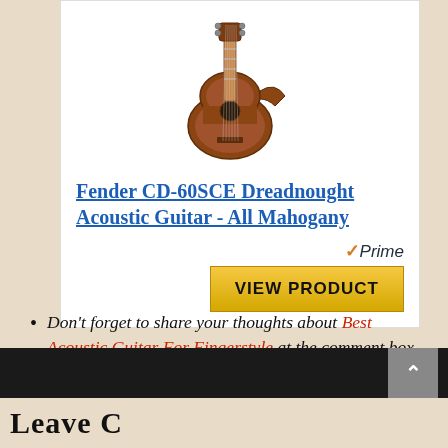[Figure (photo): Fender acoustic guitar product photo showing a dreadnought acoustic guitar with mahogany finish and cutaway body]
Fender CD-60SCE Dreadnought Acoustic Guitar - All Mahogany
[Figure (logo): Amazon Prime badge with checkmark and italic Prime text in orange and black]
VIEW PRODUCT
Don't forget to share your thoughts about Best Acoustic Guitar For Fingerstyle at the comment box below!